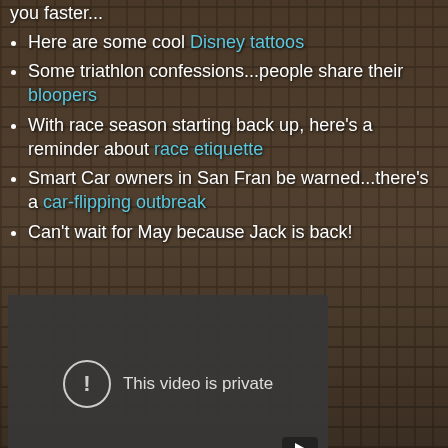you faster...
Here are some cool Disney tattoos
Some triathlon confessions...people share their bloopers
With race season starting back up, here's a reminder about race etiquette
Smart Car owners in San Fran be warned...there's a car-flipping outbreak
Can't wait for May because Jack is back!
[Figure (screenshot): Embedded video player showing 'This video is private' message with a YouTube play button icon in the bottom-right corner.]